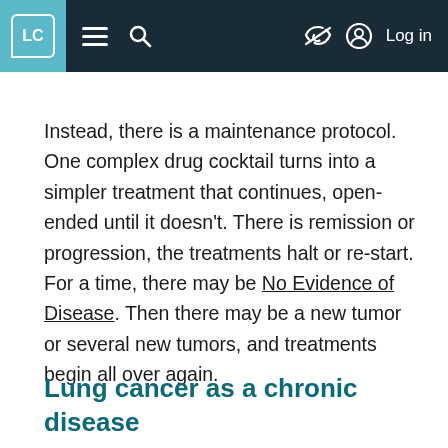LC [logo] ≡ 🔍 [eye-slash] Log in
Instead, there is a maintenance protocol. One complex drug cocktail turns into a simpler treatment that continues, open-ended until it doesn't. There is remission or progression, the treatments halt or re-start. For a time, there may be No Evidence of Disease. Then there may be a new tumor or several new tumors, and treatments begin all over again.
Lung cancer as a chronic disease